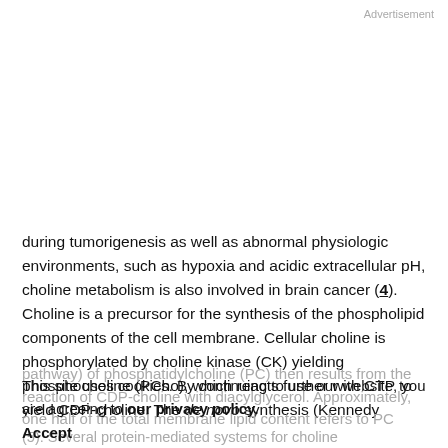Advertisement
during tumorigenesis as well as abnormal physiologic environments, such as hypoxia and acidic extracellular pH, choline metabolism is also involved in brain cancer (4). Choline is a precursor for the synthesis of the phospholipid components of the cell membrane. Cellular choline is phosphorylated by choline kinase (CK) yielding phosphocholine (PCho), which reacts further with CTP to yield CDP-choline. The de novo synthesis (Kennedy
pathway) of phosphatidylcholine (PC) then results from the reaction of CDP-choline with diacylglycerol. Approximately, one half of the total membrane lipid content refers to PC
This site uses cookies. By continuing to use our website, you are agreeing to our privacy policy. Accept
(5). Several protein-mediated systems for choline